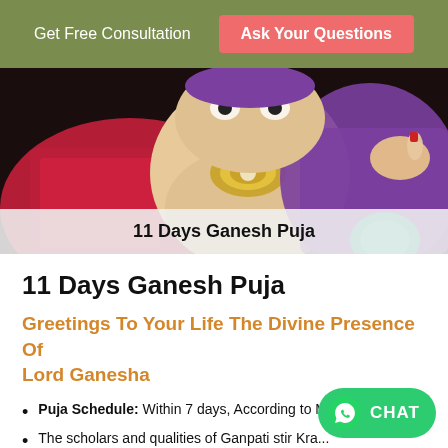Get Free Consultation   Ask Your Questions
[Figure (photo): Colorful Ganesh statue idol with red and purple decorations and jewelry, close-up photo]
11 Days Ganesh Puja
11 Days Ganesh Puja
Greetings To Your Life The Divine Presence Of Lord Ganesha
Puja Schedule: Within 7 days, According to Mu...
The scholars and qualities of Ganpati stir Kra...